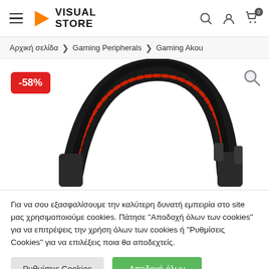Visual Store — Navigation header with hamburger menu, logo, search, account, and cart icons
Αρχική σελίδα > Gaming Peripherals > Gaming Akou...
[Figure (photo): Gaming headset/headphones with black and red design, shown on white background. A -58% discount badge is shown in the top-left corner. A magnifying glass icon is in the top-right.]
Για να σου εξασφαλίσουμε την καλύτερη δυνατή εμπειρία στο site μας χρησιμοποιούμε cookies. Πάτησε "Αποδοχή όλων των cookies" για να επιτρέψεις την χρήση όλων των cookies ή "Ρυθμίσεις Cookies" για να επιλέξεις ποια θα αποδεχτείς.
Ρυθμίσεις Cookies | Αποδοχή όλων